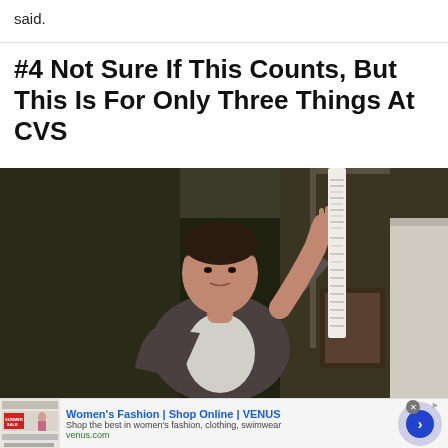said.
#4 Not Sure If This Counts, But This Is For Only Three Things At CVS
[Figure (photo): A young man holding up a very long CVS receipt above his head, standing indoors in a dimly lit room.]
[Figure (screenshot): Advertisement for Women's Fashion | Shop Online | VENUS. Text: Shop the best in women's fashion, clothing, swimwear. URL: venus.com. Shows a close button (X) and a forward arrow button.]